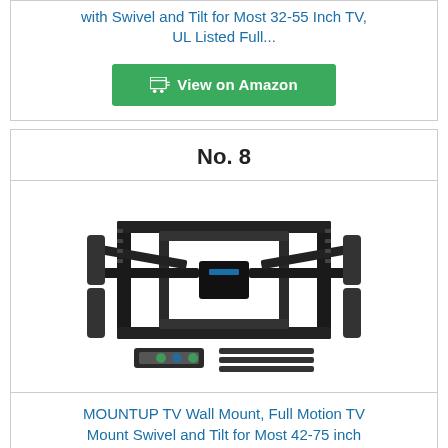with Swivel and Tilt for Most 32-55 Inch TV, UL Listed Full...
[Figure (other): Green 'View on Amazon' button with cart icon]
No. 8
[Figure (photo): Product photo of MOUNTUP full motion TV wall mount bracket with dual arms, level tool and hardware accessories]
MOUNTUP TV Wall Mount, Full Motion TV Mount Swivel and Tilt for Most 42-75 inch Flat Screen/Curved...